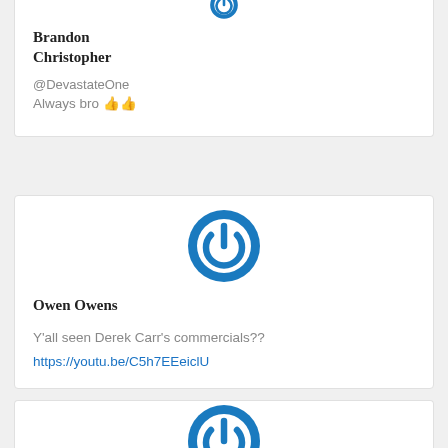[Figure (illustration): Blue circular power button icon avatar for Brandon Christopher, partially visible at top]
Brandon Christopher
@DevastateOne
Always bro 👍👍
[Figure (logo): Blue circular power button icon avatar for Owen Owens]
Owen Owens
Y'all seen Derek Carr's commercials??
https://youtu.be/C5h7EEeiclU
[Figure (logo): Blue circular power button icon avatar, partially visible at bottom of page]